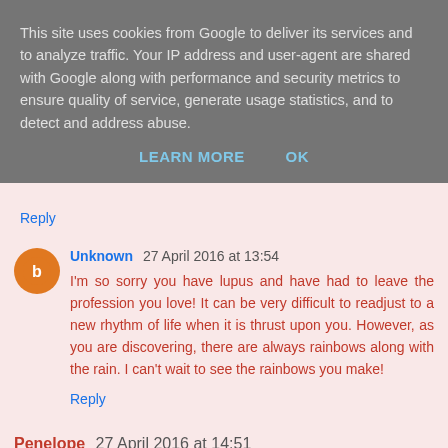This site uses cookies from Google to deliver its services and to analyze traffic. Your IP address and user-agent are shared with Google along with performance and security metrics to ensure quality of service, generate usage statistics, and to detect and address abuse.
LEARN MORE   OK
Reply
Unknown 27 April 2016 at 13:54
I'm so sorry you have lupus and have had to leave the profession you love! It can be very difficult to readjust to a new rhythm of life when it is thrust upon you. However, as you are discovering, there are always rainbows along with the rain. I can't wait to see the rainbows you make!
Reply
Penelope 27 April 2016 at 14:51